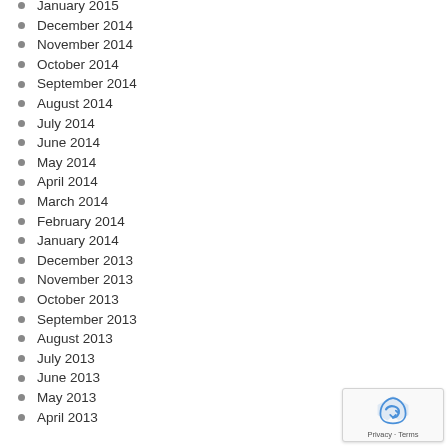January 2015
December 2014
November 2014
October 2014
September 2014
August 2014
July 2014
June 2014
May 2014
April 2014
March 2014
February 2014
January 2014
December 2013
November 2013
October 2013
September 2013
August 2013
July 2013
June 2013
May 2013
April 2013